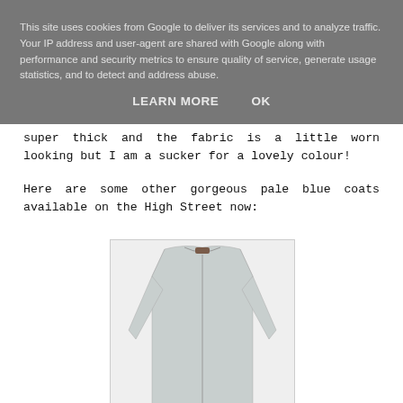This site uses cookies from Google to deliver its services and to analyze traffic. Your IP address and user-agent are shared with Google along with performance and security metrics to ensure quality of service, generate usage statistics, and to detect and address abuse.
LEARN MORE    OK
super thick and the fabric is a little worn looking but I am a sucker for a lovely colour!
Here are some other gorgeous pale blue coats available on the High Street now:
[Figure (photo): A pale blue/grey collarless coat with a centre front seam, long sleeves, displayed against a light background.]